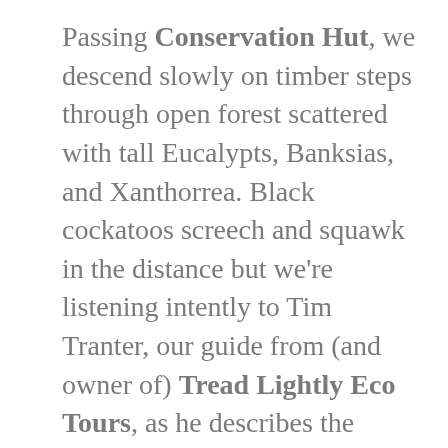Passing Conservation Hut, we descend slowly on timber steps through open forest scattered with tall Eucalypts, Banksias, and Xanthorrea. Black cockatoos screech and squawk in the distance but we're listening intently to Tim Tranter, our guide from (and owner of) Tread Lightly Eco Tours, as he describes the formation of the Blue Mountains.